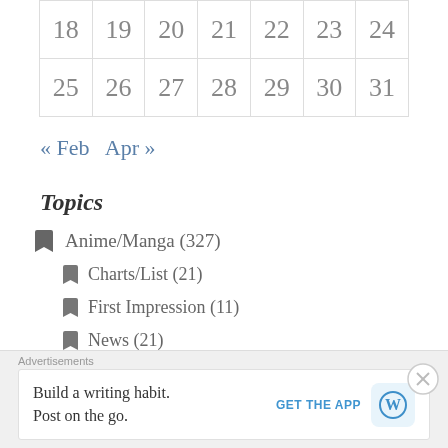| 18 | 19 | 20 | 21 | 22 | 23 | 24 |
| 25 | 26 | 27 | 28 | 29 | 30 | 31 |
« Feb   Apr »
Topics
Anime/Manga (327)
Charts/List (21)
First Impression (11)
News (21)
Reviews (272)
Books (2)
Advertisements
Build a writing habit. Post on the go.
GET THE APP